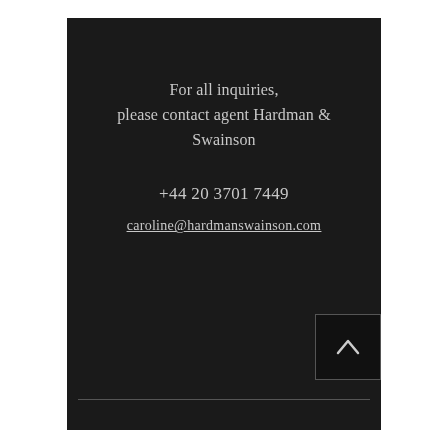For all inquiries, please contact agent Hardman & Swainson
+44 20 3701 7449
caroline@hardmanswainson.com